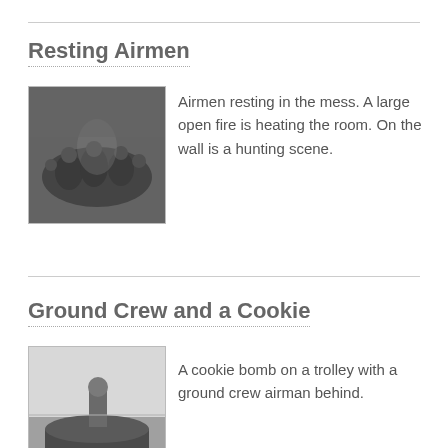Resting Airmen
[Figure (photo): Black and white photograph of airmen resting in a mess hall with a large open fire and a hunting scene on the wall.]
Airmen resting in the mess. A large open fire is heating the room. On the wall is a hunting scene.
Ground Crew and a Cookie
[Figure (photo): Black and white photograph of a cookie bomb on a trolley with a ground crew airman standing behind it.]
A cookie bomb on a trolley with a ground crew airman behind.